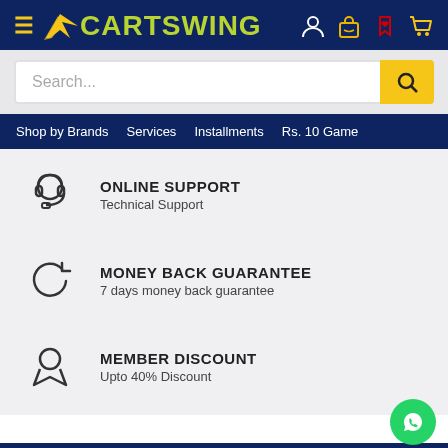[Figure (logo): CartSwing e-commerce website header with logo, hamburger menu, and navigation icons]
[Figure (screenshot): Search bar with placeholder text 'Search...' and yellow search button]
Shop by Brands   Services   Installments   Rs. 10 Game
[Figure (illustration): Headset icon for Online Support feature]
ONLINE SUPPORT
Technical Support
[Figure (illustration): Circular arrows icon for Money Back Guarantee feature]
MONEY BACK GUARANTEE
7 days money back guarantee
[Figure (illustration): Award/badge icon for Member Discount feature]
MEMBER DISCOUNT
Upto 40% Discount
SIGN UP FOR   AFFILIATE PROGRAM